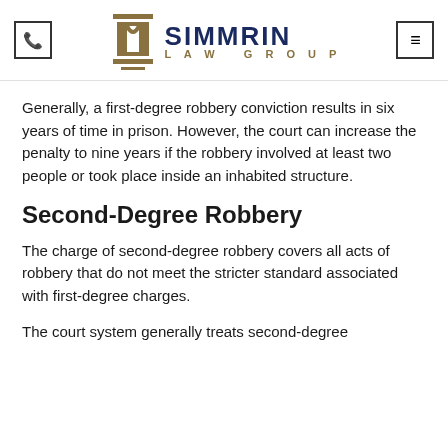Simmrin Law Group
Generally, a first-degree robbery conviction results in six years of time in prison. However, the court can increase the penalty to nine years if the robbery involved at least two people or took place inside an inhabited structure.
Second-Degree Robbery
The charge of second-degree robbery covers all acts of robbery that do not meet the stricter standard associated with first-degree charges.
The court system generally treats second-degree